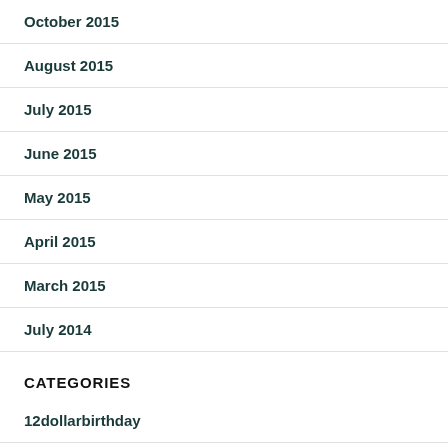October 2015
August 2015
July 2015
June 2015
May 2015
April 2015
March 2015
July 2014
CATEGORIES
12dollarbirthday